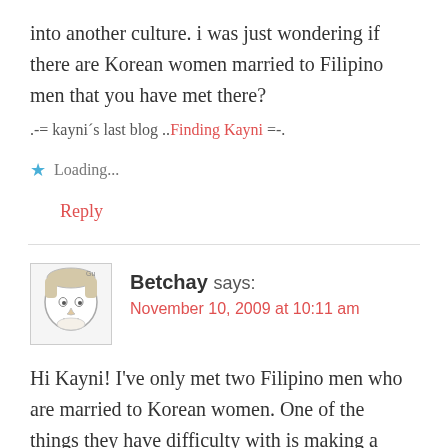into another culture. i was just wondering if there are Korean women married to Filipino men that you have met there?
.-= kayni´s last blog ..Finding Kayni =-.
★ Loading...
Reply
Betchay says:
November 10, 2009 at 10:11 am
Hi Kayni! I’ve only met two Filipino men who are married to Korean women. One of the things they have difficulty with is making a living. Even if one is a foreign husband, he’s still expected to bring home the